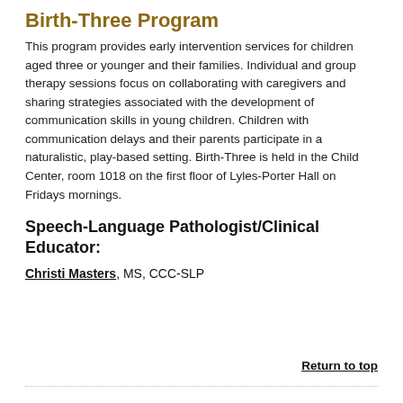Birth-Three Program
This program provides early intervention services for children aged three or younger and their families. Individual and group therapy sessions focus on collaborating with caregivers and sharing strategies associated with the development of communication skills in young children. Children with communication delays and their parents participate in a naturalistic, play-based setting. Birth-Three is held in the Child Center, room 1018 on the first floor of Lyles-Porter Hall on Fridays mornings.
Speech-Language Pathologist/Clinical Educator:
Christi Masters, MS, CCC-SLP
Return to top